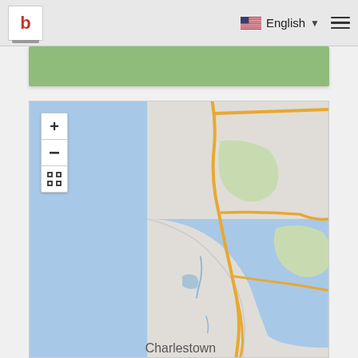[Figure (screenshot): Website navigation bar with a 'b' logo icon on the left, and English language selector with US flag and hamburger menu on the right]
[Figure (map): Green banner/header element below the navigation bar]
[Figure (map): Interactive map showing coastal area with Charlestown visible, ocean (light blue) on the left, land (grey/light green) on the right with roads in yellow/orange. Map has zoom controls (+, -, fullscreen) in top-left corner.]